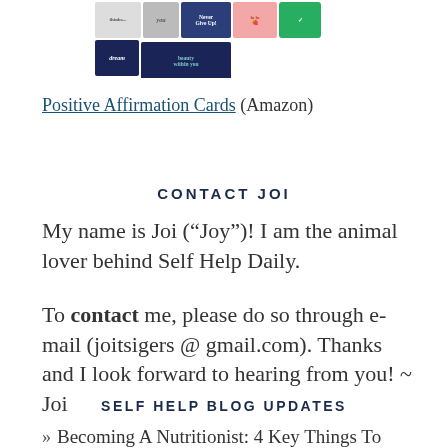[Figure (photo): Collage of colorful positive affirmation greeting cards including cards with text like 'Never Give Up', 'believe in you', 'dream', and 'beauty within you']
Positive Affirmation Cards (Amazon)
CONTACT JOI
My name is Joi (“Joy”)! I am the animal lover behind Self Help Daily.
To contact me, please do so through e-mail (joitsigers @ gmail.com). Thanks and I look forward to hearing from you! ~ Joi
SELF HELP BLOG UPDATES
Becoming A Nutritionist: 4 Key Things To